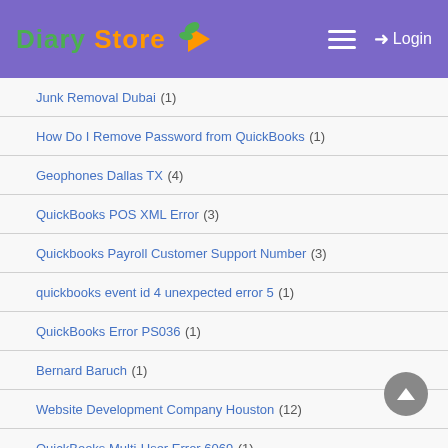Diary Store — Login
Junk Removal Dubai (1)
How Do I Remove Password from QuickBooks (1)
Geophones Dallas TX (4)
QuickBooks POS XML Error (3)
Quickbooks Payroll Customer Support Number (3)
quickbooks event id 4 unexpected error 5 (1)
QuickBooks Error PS036 (1)
Bernard Baruch (1)
Website Development Company Houston (12)
QuickBooks Multi-User Error 6069 (1)
forgot Outlook login password (1)
QuickBooks Payroll Won't Update Error PS058 (1)